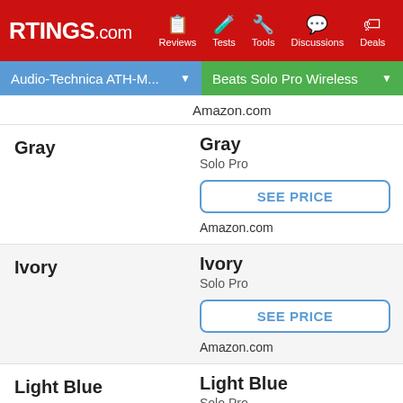RTINGS.com — Reviews, Tests, Tools, Discussions, Deals
Audio-Technica ATH-M... | Beats Solo Pro Wireless
Amazon.com
Gray
Gray
Solo Pro
SEE PRICE
Amazon.com
Ivory
Ivory
Solo Pro
SEE PRICE
Amazon.com
Light Blue
Light Blue
Solo Pro
SEE PRICE
BestBuy.com